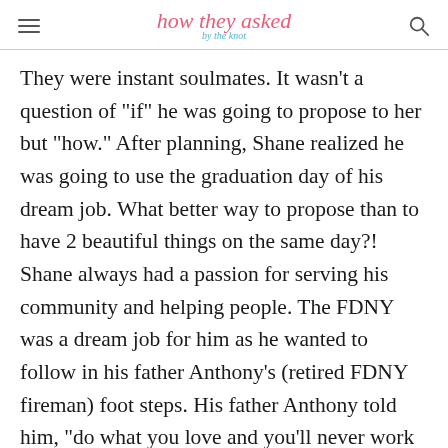how they asked by the knot
They were instant soulmates. It wasn't a question of “if” he was going to propose to her but “how.” After planning, Shane realized he was going to use the graduation day of his dream job. What better way to propose than to have 2 beautiful things on the same day?! Shane always had a passion for serving his community and helping people. The FDNY was a dream job for him as he wanted to follow in his father Anthony’s (retired FDNY fireman) foot steps. His father Anthony told him, “do what you love and you’ll never work a day in your life,” and his heart pulled him to the FDNY EMT as he pursued his dream job.